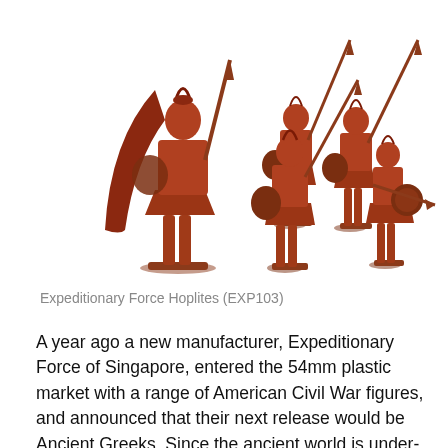[Figure (photo): Photograph of red/terracotta-colored plastic 54mm ancient Greek Hoplite miniature figures — one large figure on the left with a cape, and four smaller soldiers with spears and shields on the right.]
Expeditionary Force Hoplites (EXP103)
A year ago a new manufacturer, Expeditionary Force of Singapore, entered the 54mm plastic market with a range of American Civil War figures, and announced that their next release would be Ancient Greeks. Since the ancient world is under-represented in 54mm plastic production, this was exciting news. Now Expeditionary Force’s new range of 54mm Greek Hoplites, light troops and cavalry has arrived, and the news is good.
In my opinion, these astonishing models are the most detailed painted plastic figures ever produced...